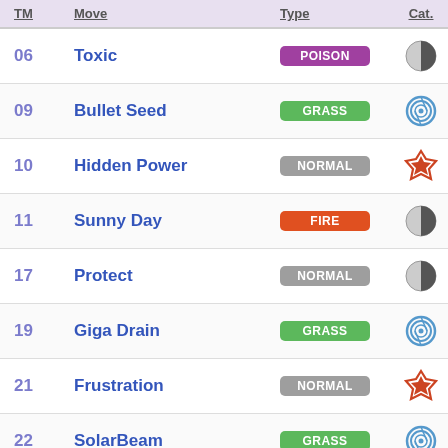| TM | Move | Type | Catl | Power |
| --- | --- | --- | --- | --- |
| 06 | Toxic | POISON | status | — |
| 09 | Bullet Seed | GRASS | special | 10 |
| 10 | Hidden Power | NORMAL | physical | 60 |
| 11 | Sunny Day | FIRE | status | — |
| 17 | Protect | NORMAL | status | — |
| 19 | Giga Drain | GRASS | special | 60 |
| 21 | Frustration | NORMAL | physical | — |
| 22 | SolarBeam | GRASS | special | 120 |
| 27 | Return | NORMAL | physical | — |
| 32 | Double Team | NORMAL | status | — |
| 36 | Sludge Bomb | POISON | physical | 90 |
| 42 | Facade | NORMAL | physical | 70 |